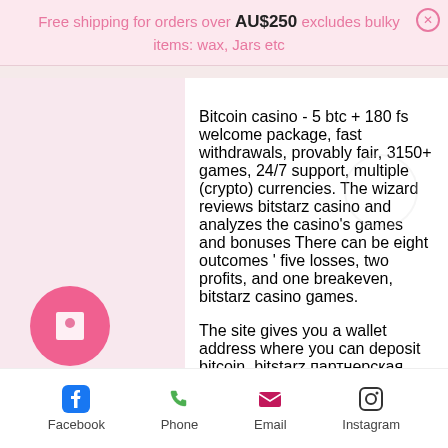Free shipping for orders over AU$250 excludes bulky items: wax, Jars etc
Bitcoin casino - 5 btc + 180 fs welcome package, fast withdrawals, provably fair, 3150+ games, 24/7 support, multiple (crypto) currencies. The wizard reviews bitstarz casino and analyzes the casino's games and bonuses There can be eight outcomes ' five losses, two profits, and one breakeven, bitstarz casino games.
The site gives you a wallet address where you can deposit bitcoin, bitstarz партнерская программа. Whatever site you decide to play at, always remember to place your bet within the minimum and maximum wagering range. Moreover, it's important to know if the site requires a particular wallet because some sites opt for one or more
Facebook   Phone   Email   Instagram